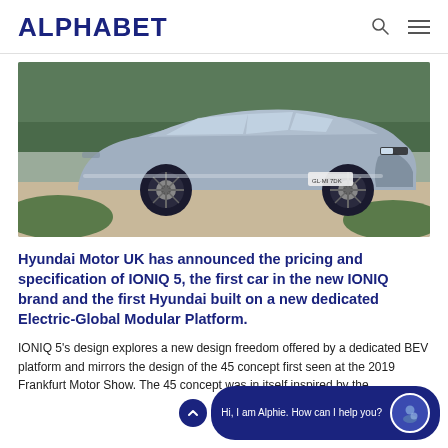ALPHABET
[Figure (photo): A blue-grey Hyundai IONIQ 5 electric car parked on a gravel driveway with hedges in the background]
Hyundai Motor UK has announced the pricing and specification of IONIQ 5, the first car in the new IONIQ brand and the first Hyundai built on a new dedicated Electric-Global Modular Platform.
IONIQ 5's design explores a new design freedom offered by a dedicated BEV platform and mirrors the design of the 45 concept first seen at the 2019 Frankfurt Motor Show. The 45 concept was in itself inspired by the